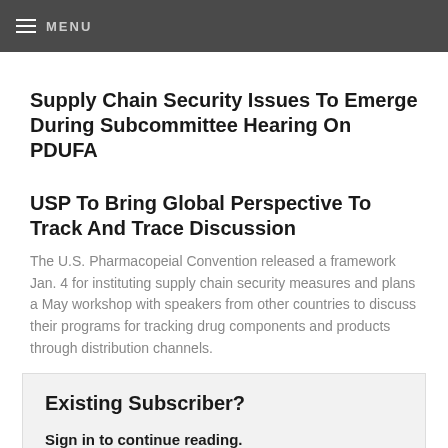MENU
Supply Chain Security Issues To Emerge During Subcommittee Hearing On PDUFA
USP To Bring Global Perspective To Track And Trace Discussion
The U.S. Pharmacopeial Convention released a framework Jan. 4 for instituting supply chain security measures and plans a May workshop with speakers from other countries to discuss their programs for tracking drug components and products through distribution channels.
Existing Subscriber?
Sign in to continue reading.
SIGN IN